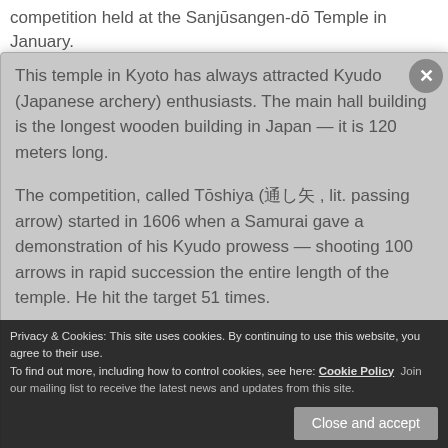competition held at the Sanjūsangen-dō Temple in January.
This temple in Kyoto has always attracted Kyudo (Japanese archery) enthusiasts. The main hall building is the longest wooden building in Japan — it is 120 meters long.
The competition, called Tōshiya (通し矢, lit. passing arrow) started in 1606 when a Samurai gave a demonstration of his Kyudo prowess — shooting 100 arrows in rapid succession the entire length of the temple. He hit the target 51 times.
[Figure (screenshot): A screenshot of a webpage showing a modal dialog with a close (x) button, displaying article text about Sanjūsangen-dō Temple and Kyudo archery. Overlaid are a cookie consent bar and a newsletter subscription overlay for MyKyotoPhoto.]
Subscribe To
MyKyotoPhoto
Join our mailing list to receive the latest news and updates from this site.
Privacy & Cookies: This site uses cookies. By continuing to use this website, you agree to their use.
To find out more, including how to control cookies, see here: Cookie Policy
Close and accept
The Hyakui